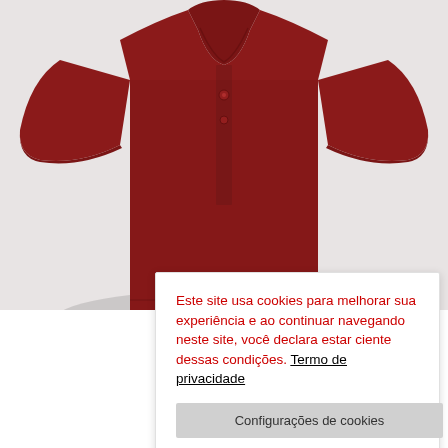[Figure (photo): A red/dark crimson polo shirt displayed on a white background, showing the collar, short sleeves, and front placket with buttons.]
Este site usa cookies para melhorar sua experiência e ao continuar navegando neste site, você declara estar ciente dessas condições. Termo de privacidade
Configurações de cookies
Aceitar tudo